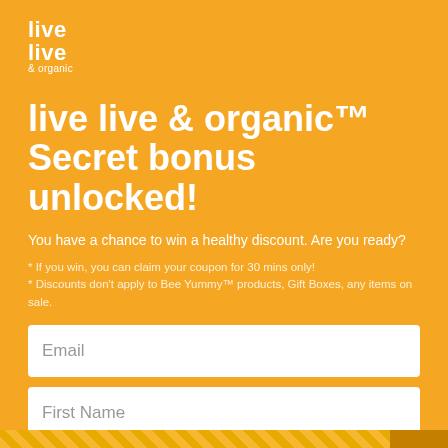[Figure (logo): live live & organic logo in white text on orange background]
live live & organic™ Secret bonus unlocked!
You have a chance to win a healthy discount. Are you ready?
* If you win, you can claim your coupon for 30 mins only!
* Discounts don't apply to Bee Yummy™ products, Gift Boxes, any items on sale.
Email
First Name
TRY YOUR LUCK